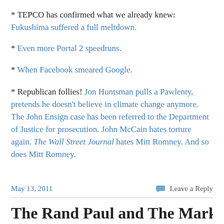* TEPCO has confirmed what we already knew: Fukushima suffered a full meltdown.
* Even more Portal 2 speedruns.
* When Facebook smeared Google.
* Republican follies! Jon Huntsman pulls a Pawlenty, pretends he doesn't believe in climate change anymore. The John Ensign case has been referred to the Department of Justice for prosecution. John McCain hates torture again. The Wall Street Journal hates Mitt Romney. And so does Mitt Romney.
May 13, 2011
Leave a Reply
The Rand Paul and The Mark...